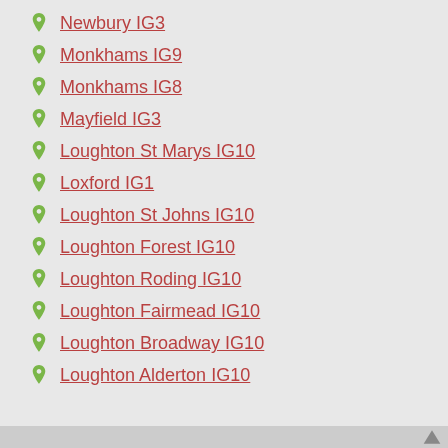Newbury IG3
Monkhams IG9
Monkhams IG8
Mayfield IG3
Loughton St Marys IG10
Loxford IG1
Loughton St Johns IG10
Loughton Forest IG10
Loughton Roding IG10
Loughton Fairmead IG10
Loughton Broadway IG10
Loughton Alderton IG10